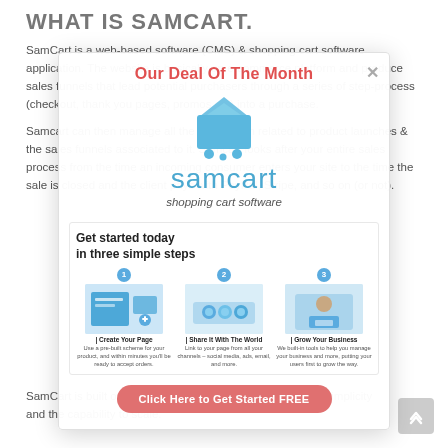WHAT IS SAMCART.
SamCart is a web-based software (CMS) & shopping cart software application. The website is basically an e-commerce platform and produce sales funnels that lead potential purchasers through a series of step-process (checkout, thank you pages, promos etc) into a purchase.
Samcart can then manage all the information related to product launches & the sales funnels associated to it. Samcart looks after your entire sales process from the time an incoming consumer enters your site to the time the sale is closed and the client pays with PayPal, Stripe, and so on (or not).
SamCart is built on the concepts of simplicity, ease of use, simplicity and the capability to scale.
[Figure (infographic): SamCart promotional modal overlay showing the SamCart shopping cart logo (blue cart icon), SamCart wordmark in blue, tagline 'Our Deal Of The Month' in red, subtitle 'Get started today in three simple steps', three steps with images (Create Your Page, Share It With The World, Grow Your Business), and a pink CTA button 'Click Here to Get Started FREE']